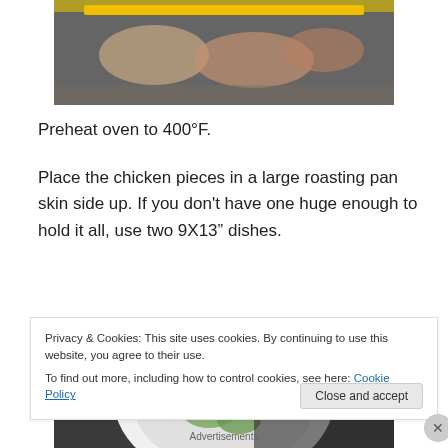[Figure (photo): Top portion of a yellow tray with raw chicken pieces, partially visible at the top of the page.]
Preheat oven to 400°F.
Place the chicken pieces in a large roasting pan skin side up. If you don't have one huge enough to hold it all, use two 9X13" dishes.
[Figure (photo): White bowl containing green herb leaves (bay leaves) and a garlic clove, on a dark granite countertop.]
Privacy & Cookies: This site uses cookies. By continuing to use this website, you agree to their use.
To find out more, including how to control cookies, see here: Cookie Policy
Close and accept
Advertisements